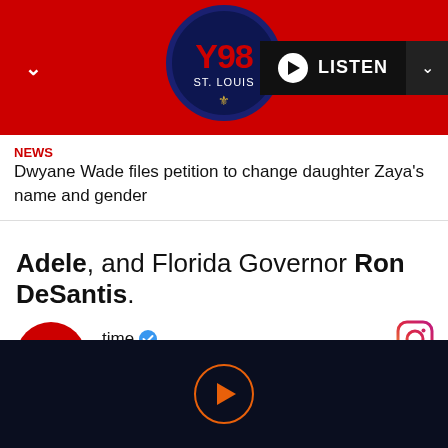Y98 ST. LOUIS — LISTEN
NEWS
Dwyane Wade files petition to change daughter Zaya's name and gender
Adele, and Florida Governor Ron DeSantis.
[Figure (screenshot): TIME magazine Instagram profile showing TIME logo, verified account name 'time', 11.6M followers, 7,981 posts, and Instagram icon]
Play button (orange circle with triangle)